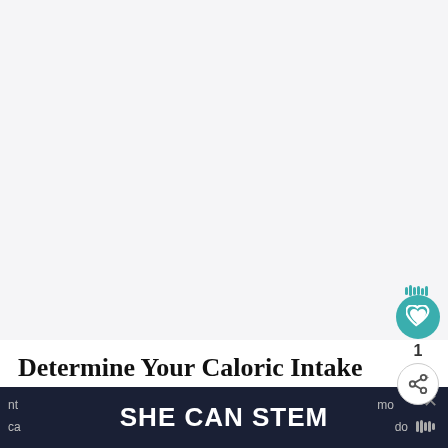[Figure (other): Large light gray rectangular image placeholder area at the top of the page]
Determine Your Caloric Intake
The starting place for determining your macro
SHE CAN STEM